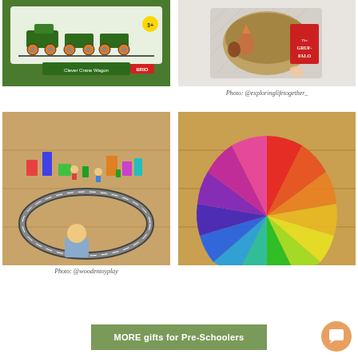[Figure (photo): BRIO Clever Crane Wagon wooden train toy in green packaging on white background]
[Figure (photo): Overhead view of The Gruffalo book with woodland animal toys in a bowl on a patterned mat, child's hand visible]
Photo: @exploringlifetogether_
[Figure (photo): Child playing with wooden block city and toy car track set on wooden floor, aerial/overhead view]
[Figure (photo): Rainbow color wheel fan arrangement of colorful plastic or silk fans on wooden floor]
Photo: @woodentoyplay
MORE gifts for Pre-Schoolers